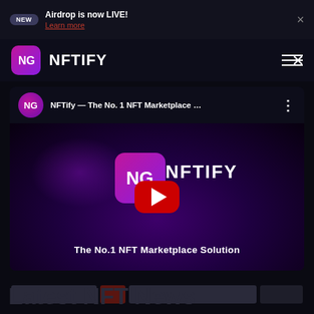NEW  Airdrop is now LIVE!  Learn more  ×
[Figure (logo): NFTify logo with gradient purple/pink icon and bold white NFTIFY text, hamburger/close menu icon on right]
[Figure (screenshot): YouTube-style video card showing NFTify channel avatar, title 'NFTify — The No. 1 NFT Marketplace …', video thumbnail with NFTify logo and tagline 'The No.1 NFT Marketplace Solution', red YouTube play button in center]
Latest NFT News